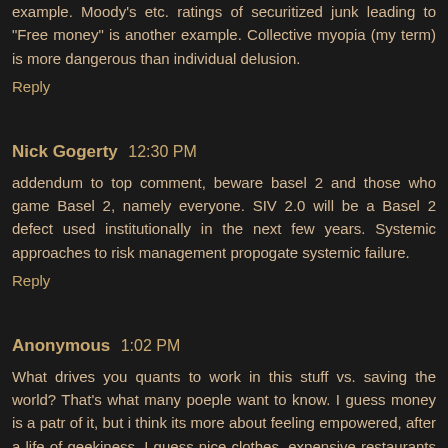example. Moody's etc. ratings of securitized junk leading to "Free money" is another example. Collective myopia (my term) is more dangerous than individual delusion.
Reply
Nick Gogerty  12:30 PM
addendum to top comment, beware basel 2 and those who game Basel 2, namely everyone. SIV 2.0 will be a Basel 2 defect used institutionally in the next few years. Systemic approaches to risk management propogate systemic failure.
Reply
Anonymous  1:02 PM
What drives you quants to work in this stuff vs. saving the world? That's what many poeple want to know. I guess money is a patr of it, but i think its more about feeling empowered, after a life of geekiness. I guess nice clothes, expensive restaurants are exciting. I also think that talking